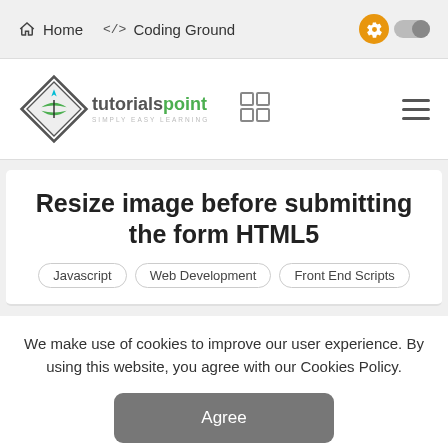Home   </> Coding Ground
[Figure (logo): Tutorialspoint logo with diamond shape containing a book icon, text 'tutorialspoint SIMPLY EASY LEARNING', grid icon, and hamburger menu]
Resize image before submitting the form HTML5
Javascript
Web Development
Front End Scripts
We make use of cookies to improve our user experience. By using this website, you agree with our Cookies Policy.
Agree
Learn more